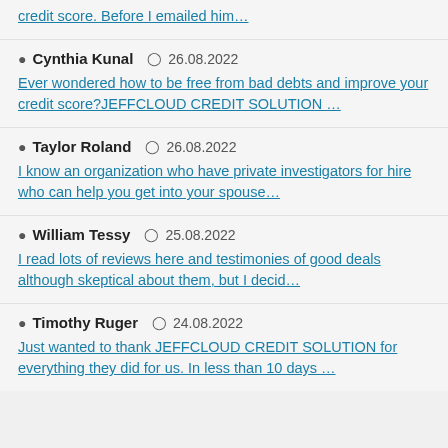credit score. Before I emailed him…
Cynthia Kunal  26.08.2022
Ever wondered how to be free from bad debts and improve your credit score?JEFFCLOUD CREDIT SOLUTION …
Taylor Roland  26.08.2022
I know an organization who have private investigators for hire who can help you get into your spouse…
William Tessy  25.08.2022
I read lots of reviews here and testimonies of good deals although skeptical about them, but I decid…
Timothy Ruger  24.08.2022
Just wanted to thank JEFFCLOUD CREDIT SOLUTION for everything they did for us. In less than 10 days …